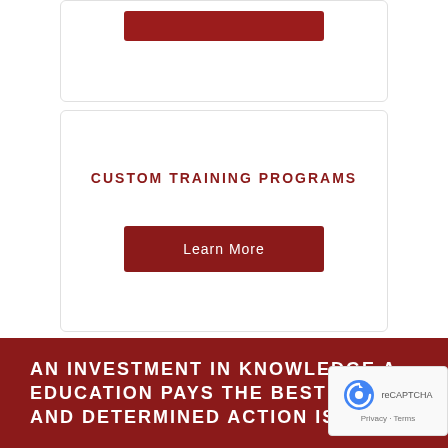[Figure (screenshot): Top card with a dark red button (Learn More), partially visible at top of page]
CUSTOM TRAINING PROGRAMS
[Figure (screenshot): Dark red Learn More button inside the Custom Training Programs card]
AN INVESTMENT IN KNOWLEDGE AND EDUCATION PAYS THE BEST INTEREST AND DETERMINED ACTION IS THE
[Figure (screenshot): reCAPTCHA badge with Privacy and Terms links]